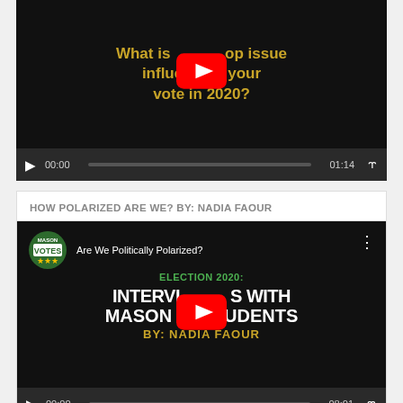[Figure (screenshot): YouTube video player showing a video titled 'What is the top issue influencing your vote in 2020?' with playback controls showing time 00:00 and duration 01:14]
HOW POLARIZED ARE WE? BY: NADIA FAOUR
[Figure (screenshot): YouTube video player showing a video titled 'Are We Politically Polarized? ELECTION 2020: INTERVIEWS WITH MASON STUDENTS BY: NADIA FAOUR' with playback controls showing time 00:00 and duration 08:01]